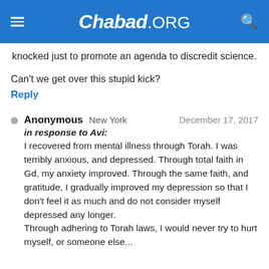Chabad.ORG
knocked just to promote an agenda to discredit science.
Can't we get over this stupid kick?
Reply
Anonymous  New York  December 17, 2017
in response to Avi:
I recovered from mental illness through Torah. I was terribly anxious, and depressed. Through total faith in Gd, my anxiety improved. Through the same faith, and gratitude, I gradually improved my depression so that I don't feel it as much and do not consider myself depressed any longer.
Through adhering to Torah laws, I would never try to hurt myself, or someone else...